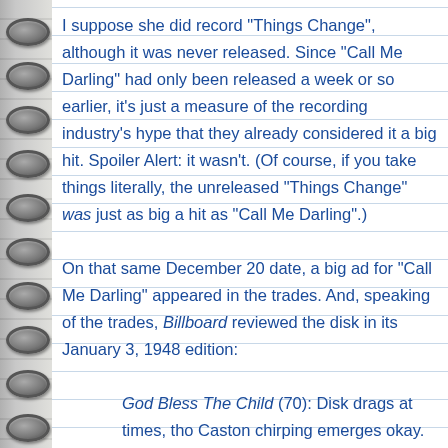I suppose she did record "Things Change", although it was never released. Since "Call Me Darling" had only been released a week or so earlier, it's just a measure of the recording industry's hype that they already considered it a big hit. Spoiler Alert: it wasn't. (Of course, if you take things literally, the unreleased "Things Change" was just as big a hit as "Call Me Darling".)
On that same December 20 date, a big ad for "Call Me Darling" appeared in the trades. And, speaking of the trades, Billboard reviewed the disk in its January 3, 1948 edition:
God Bless The Child (70): Disk drags at times, tho Caston chirping emerges okay.